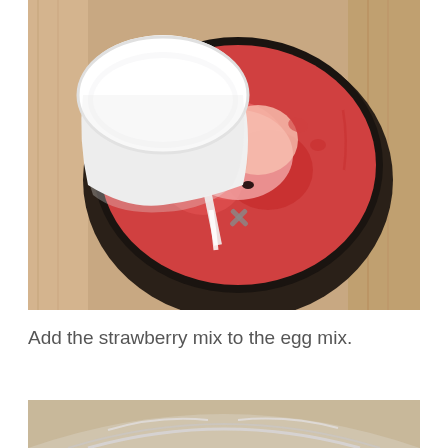[Figure (photo): Overhead view of a blender containing strawberry mixture with a white cup/bowl pouring white liquid (milk or cream) into it. The blender is dark colored and the background shows a wooden surface.]
Add the strawberry mix to the egg mix.
[Figure (photo): Partial view of a glass mixing bowl on a surface, bottom portion of the image.]